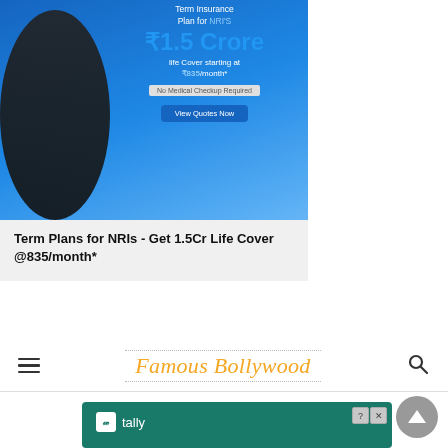[Figure (photo): Insurance advertisement banner showing a man in traditional Indian attire with suit pointing, with text about Term Insurance Plan for NRIs: ₹1.5 Crore life cover starting at ₹835/month*, No Medical Checkup Required, View Quotes Now button]
Term Plans for NRIs - Get 1.5Cr Life Cover @835/month*
Famous Bollywood
[Figure (screenshot): Tally advertisement: Get out of credit card debt faster with Tally+, with Tally logo and decorative credit card graphics]